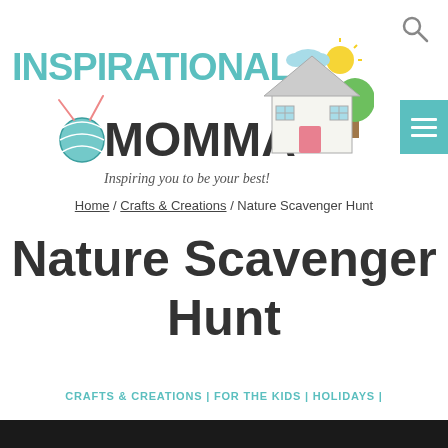[Figure (logo): Inspirational Momma blog logo with teal text reading INSPIRATIONAL MOMMA, tagline 'Inspiring you to be your best!', illustration of a house with trees and sun, yarn ball with knitting needles]
Home / Crafts & Creations / Nature Scavenger Hunt
Nature Scavenger Hunt
CRAFTS & CREATIONS | FOR THE KIDS | HOLIDAYS |